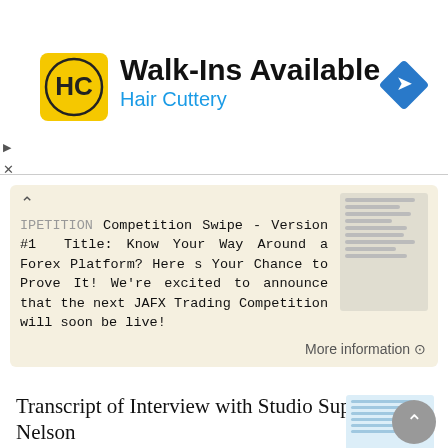[Figure (logo): Hair Cuttery advertisement banner with logo, 'Walk-Ins Available' title and navigation icon]
IPETITION Competition Swipe - Version #1 Title: Know Your Way Around a Forex Platform? Here s Your Chance to Prove It! We're excited to announce that the next JAFX Trading Competition will soon be live!
More information →
Transcript of Interview with Studio Superstar Phi Nelson
Transcript of Interview with Studio Superstar Phi Nelson Chantelle: Hello everyone, it is Chantelle here from Studio Expansion and today we are in for such an enormous treat. We have another of our superstar